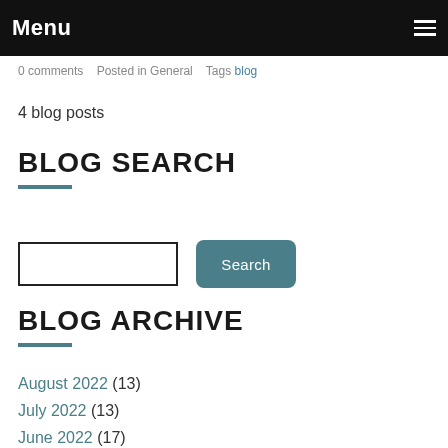Menu
0 comments   Posted in General   Tags blog
4 blog posts
BLOG SEARCH
Search (input box and button)
BLOG ARCHIVE
August 2022 (13)
July 2022 (13)
June 2022 (17)
May 2022 (21)